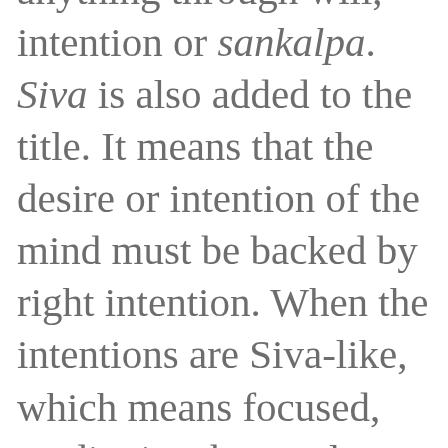anything through will, intention or sankalpa. Siva is also added to the title. It means that the desire or intention of the mind must be backed by right intention. When the intentions are Siva-like, which means focused, meditative, benevolent, all-inclusive, and yet with a sense of detatchment, then the resolve (intention), or sankalpa becomes powerful, and auspicious. Combination keys are given by Rajivji within the text so that we can open up the hidden treasures within us that allow the supreme power that lies withinin the mind of each of us to manifest.